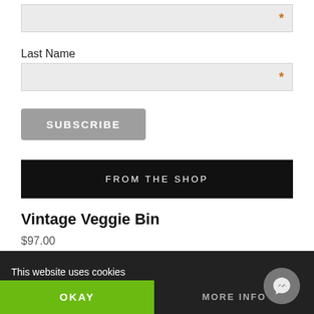[Figure (other): Text input field with orange asterisk at right]
Last Name
[Figure (other): Last Name text input field with orange asterisk at right]
[Figure (other): SUBSCRIBE button in gray]
FROM THE SHOP
Vintage Veggie Bin
$97.00
Spring Craft Retreat - In-Store & Virtual
This website uses cookies
OKAY
MORE INFO